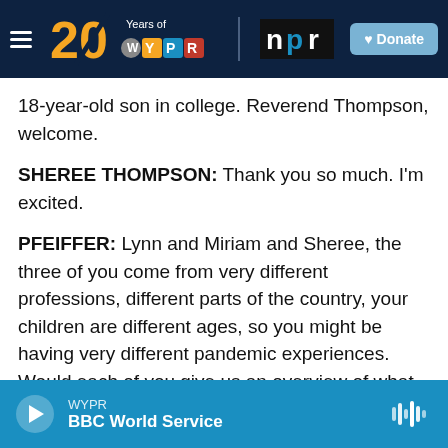[Figure (screenshot): WYPR 20 Years logo with NPR logo and Donate button on dark navy header bar]
18-year-old son in college. Reverend Thompson, welcome.
SHEREE THOMPSON: Thank you so much. I'm excited.
PFEIFFER: Lynn and Miriam and Sheree, the three of you come from very different professions, different parts of the country, your children are different ages, so you might be having very different pandemic experiences. Would each of you give us an overview of what your past year has been like? And, Miriam, since you're the newest
WYPR BBC World Service